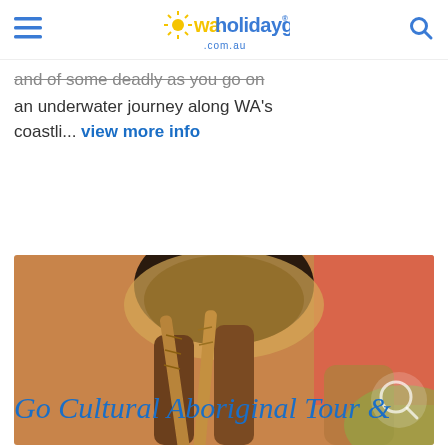waholidayguide .com.au
and of some deadly as you go on an underwater journey along WA's coastli... view more info
[Figure (photo): Close-up photo of an Aboriginal person holding carved wooden sticks or clapsticks, wearing traditional costume with fur and feathers, outdoors in warm light]
Go Cultural Aboriginal Tour &